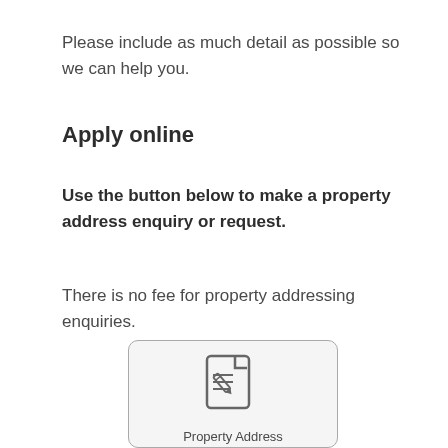Please include as much detail as possible so we can help you.
Apply online
Use the button below to make a property address enquiry or request.
There is no fee for property addressing enquiries.
[Figure (illustration): A rounded rectangle button with a document-and-pen icon and the label 'Property Address' underneath.]